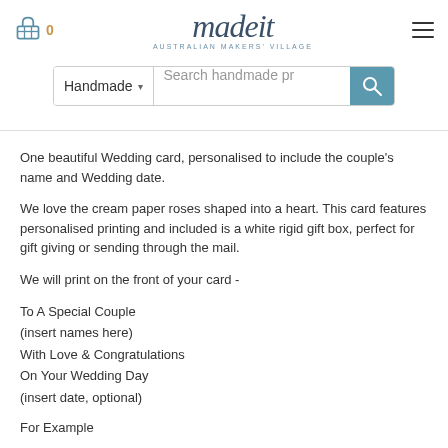madeit AUSTRALIAN MAKERS' VILLAGE — shopping cart: 0 — Search: Handmade — hamburger menu
One beautiful Wedding card, personalised to include the couple's name and Wedding date.
We love the cream paper roses shaped into a heart. This card features personalised printing and included is a white rigid gift box, perfect for gift giving or sending through the mail.
We will print on the front of your card -
To A Special Couple
(insert names here)
With Love & Congratulations
On Your Wedding Day
(insert date, optional)
For Example